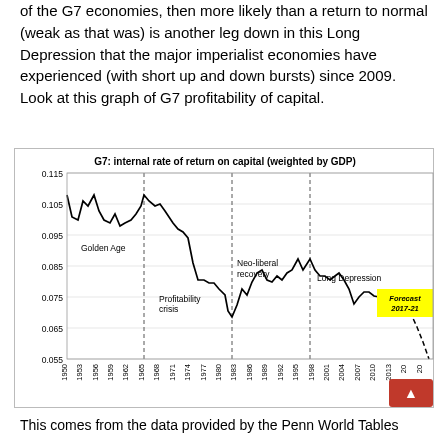of the G7 economies, then more likely than a return to normal (weak as that was) is another leg down in this Long Depression that the major imperialist economies have experienced (with short up and down bursts) since 2009. Look at this graph of G7 profitability of capital.
[Figure (continuous-plot): Line chart showing G7 internal rate of return on capital (weighted by GDP) from 1950 to ~2021. Three phases are labeled: 'Golden Age' (~1950-1965), 'Profitability crisis' (~1965-1982), 'Neo-liberal recovery' (~1982-1997), and 'Long Depression' (~1997-2021). A dashed vertical line marks ~1965, ~1982, and ~1997. Values range from about 0.055 to 0.115. A yellow highlight box shows 'Forecast 2017-21' with a dashed line declining to ~0.055.]
This comes from the data provided by the Penn World Tables